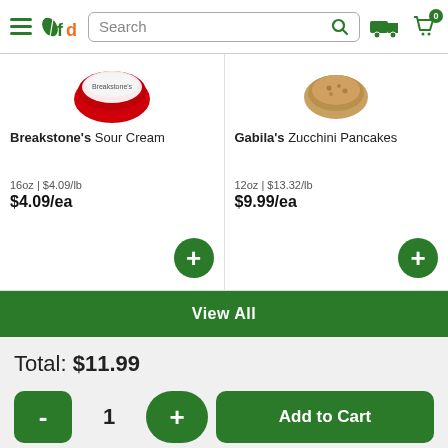[Figure (screenshot): FreshDirect mobile app header with hamburger menu, fd logo, search bar, delivery truck icon, and cart icon with badge showing 0]
Breakstone's Sour Cream
16oz | $4.09/lb
$4.09/ea
Gabila's Zucchini Pancakes
12oz | $13.32/lb
$9.99/ea
View All
Total: $11.99
1
Add to Cart